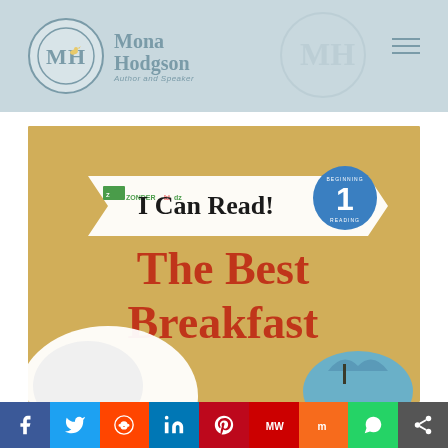[Figure (logo): Mona Hodgson Author and Speaker logo with MH monogram in a circle and a small bird]
[Figure (photo): Book cover of 'The Best Breakfast' from the I Can Read! Level 1 series, published by Zonderkidz. Shows the title in large red letters on a tan/golden background with illustrated animals.]
[Figure (infographic): Social media sharing bar with icons for Facebook, Twitter, Reddit, LinkedIn, Pinterest, MeWe, Mix, WhatsApp, and More]